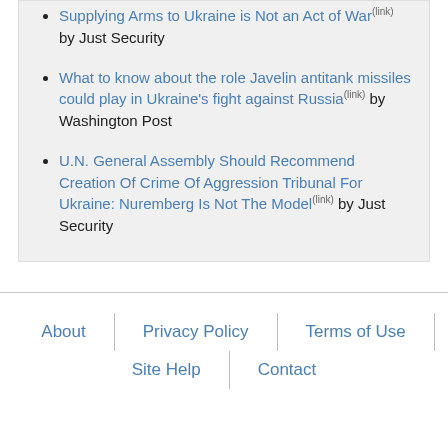Supplying Arms to Ukraine is Not an Act of War (link) by Just Security
What to know about the role Javelin antitank missiles could play in Ukraine's fight against Russia (link) by Washington Post
U.N. General Assembly Should Recommend Creation Of Crime Of Aggression Tribunal For Ukraine: Nuremberg Is Not The Model (link) by Just Security
About | Privacy Policy | Terms of Use | Site Help | Contact